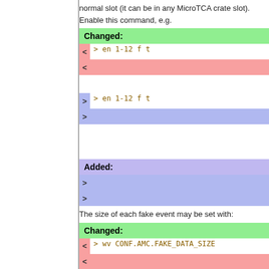normal slot (it can be in any MicroTCA crate slot). Enable this command, e.g.
Changed:
> en 1-12 f t
> en 1-12 f t
Added:
The size of each fake event may be set with:
Changed:
> wv CONF.AMC.FAKE_DATA_SIZE